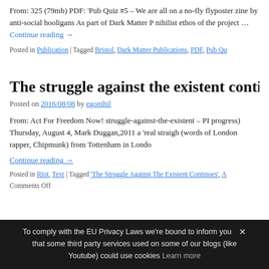From: 325 (79mb) PDF: 'Pub Quiz #5 – We are all on a no-fly flyposter zine by anti-social hooligans As part of Dark Matter P nihilist ethos of the project … Continue reading →
Posted in Publication | Tagged Bristol, Dark Matter Publications, PDF, Pub Qu
The struggle against the existent continu
Posted on 2016/08/08 by egonihil
From: Act For Freedom Now! struggle-against-the-existent – PI progress) Thursday, August 4, Mark Duggan,2011 a 'real straigh (words of London rapper, Chipmunk) from Tottenham in Londo
Continue reading →
Posted in Riot, Text | Tagged 'The Struggle Against The Existent Continues', A Comments Off
To comply with the EU Privacy Laws we're bound to inform you ✕ that some third party services used on some of our blogs (like Youtube) could use cookies Learn more